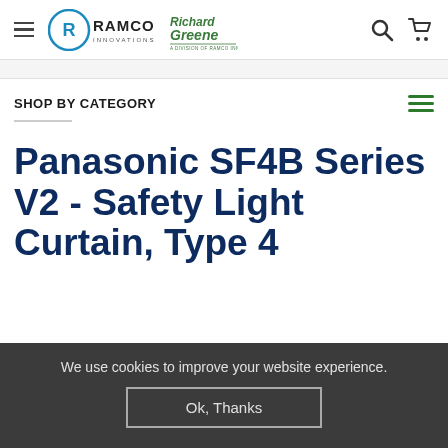RAMCO INNOVATIONS | Richard Greene — navigation header with hamburger menu, logos, search and cart icons
SHOP BY CATEGORY
Panasonic SF4B Series V2 - Safety Light Curtain, Type 4
We use cookies to improve your website experience.
Ok, Thanks